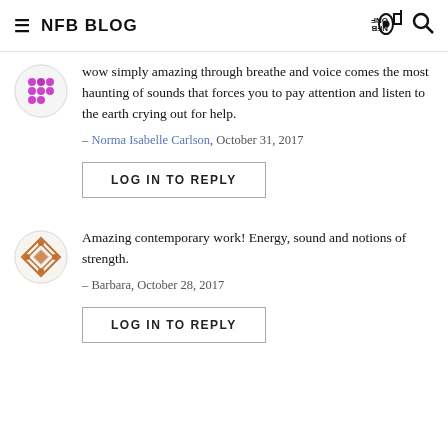NFB BLOG
wow simply amazing through breathe and voice comes the most haunting of sounds that forces you to pay attention and listen to the earth crying out for help.
– Norma Isabelle Carlson, October 31, 2017
LOG IN TO REPLY
Amazing contemporary work! Energy, sound and notions of strength.
– Barbara, October 28, 2017
LOG IN TO REPLY